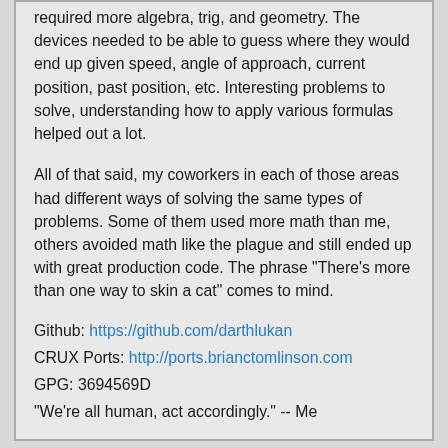required more algebra, trig, and geometry. The devices needed to be able to guess where they would end up given speed, angle of approach, current position, past position, etc. Interesting problems to solve, understanding how to apply various formulas helped out a lot.
All of that said, my coworkers in each of those areas had different ways of solving the same types of problems. Some of them used more math than me, others avoided math like the plague and still ended up with great production code. The phrase "There's more than one way to skin a cat" comes to mind.
Github: https://github.com/darthlukan
CRUX Ports: http://ports.brianctomlinson.com
GPG: 3694569D
"We're all human, act accordingly." -- Me
[Figure (logo): Colorful diagonal arrow/logo graphic in orange, red, and blue tones]